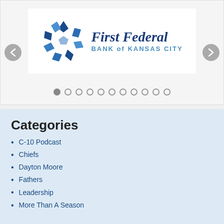[Figure (logo): First Federal Bank of Kansas City logo with blue geometric flower/star shape and text 'First Federal BANK of KANSAS CITY']
Categories
C-10 Podcast
Chiefs
Dayton Moore
Fathers
Leadership
More Than A Season